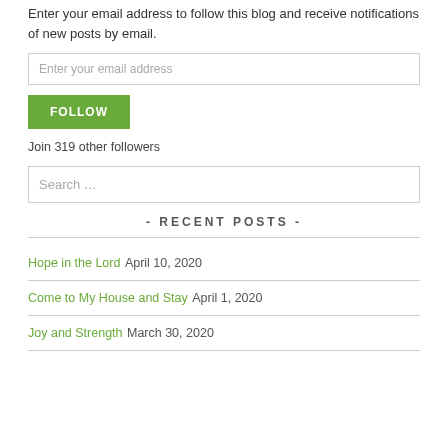Enter your email address to follow this blog and receive notifications of new posts by email.
Enter your email address
FOLLOW
Join 319 other followers
Search …
- RECENT POSTS -
Hope in the Lord  April 10, 2020
Come to My House and Stay  April 1, 2020
Joy and Strength  March 30, 2020